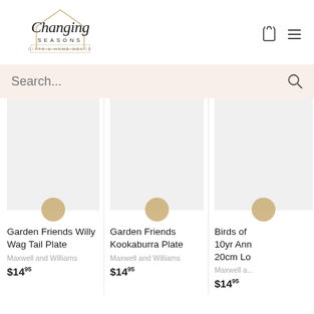[Figure (logo): Changing Seasons Gifts & Home Decor logo with script text and house outline in gold]
[Figure (other): Shopping bag icon and hamburger menu icon]
Search...
Garden Friends Willy Wag Tail Plate
Maxwell and Williams
$14.95
Garden Friends Kookaburra Plate
Maxwell and Williams
$14.95
Birds of... 10yr Ann... 20cm Lo...
Maxwell a...
$14.95